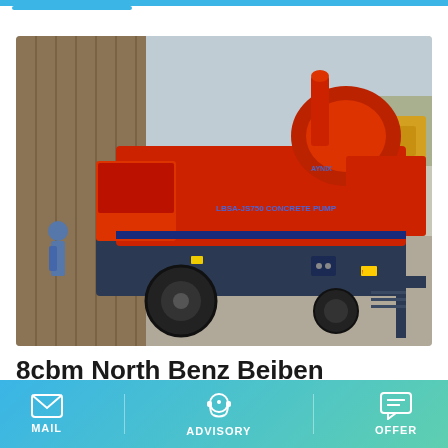[Figure (photo): Red concrete pump machine (LBSA-JS750 Concrete Pump) being loaded into a shipping container, with a worker visible on the left side and a yellow construction loader in the background. The machine is red with a dark blue base frame and has large rubber tires.]
8cbm North Benz Beiben Concrete Mixing Plant Plant
MAIL    ADVISORY    OFFER